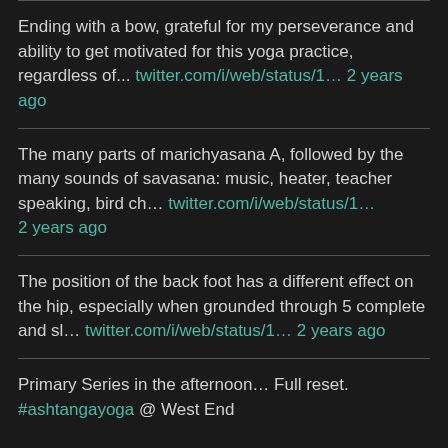Ending with a bow, grateful for my perseverance and ability to get motivated for this yoga practice, regardless of... twitter.com/i/web/status/1... 2 years ago
The many parts of marichyasana A, followed by the many sounds of savasana: music, heater, teacher speaking, bird ch... twitter.com/i/web/status/1... 2 years ago
The position of the back foot has a different effect on the hip, especially when grounded through 5 complete and sl... twitter.com/i/web/status/1... 2 years ago
Primary Series in the afternoon… Full reset. #ashtangayoga @ West End